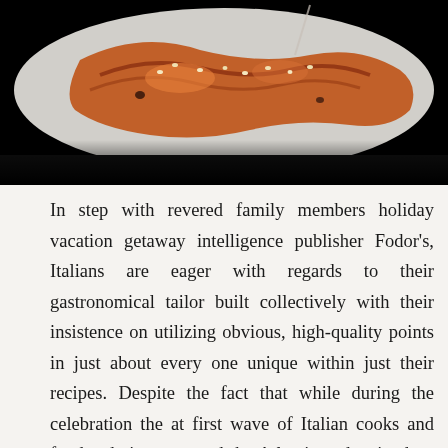[Figure (photo): Close-up photo of glazed Italian food (appears to be cannoli or pastry with sesame seeds and sauce) on a white plate, set against a black background.]
In step with revered family members holiday vacation getaway intelligence publisher Fodor's, Italians are eager with regards to their gastronomical tailor built collectively with their insistence on utilizing obvious, high-quality points in just about every one unique within just their recipes. Despite the fact that while during the celebration the at first wave of Italian cooks and foods admirers crossed the Atlantic and arrived on American shores in just just the nineteenth century, they have been remaining unable to manage a big not more than considerably more than satisfactory components which have been so sizeable in just just just their dwelling land.
Whatever the lack of olive oil, new new tomatoes and elaborate